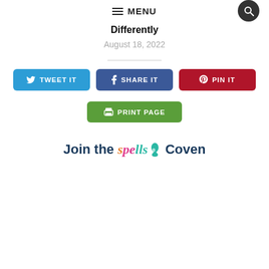MENU
Differently
August 18, 2022
[Figure (infographic): Social share buttons: TWEET IT (Twitter blue), SHARE IT (Facebook blue), PIN IT (Pinterest red), PRINT PAGE (green)]
Join the spells8 Coven